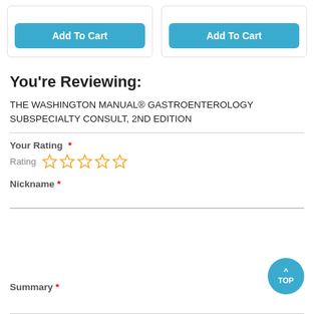[Figure (screenshot): Two 'Add To Cart' buttons side by side in blue rounded rectangles inside bordered card containers]
You're Reviewing:
THE WASHINGTON MANUAL® GASTROENTEROLOGY SUBSPECIALTY CONSULT, 2ND EDITION
Your Rating *
Rating ☆☆☆☆☆
Nickname *
Summary *